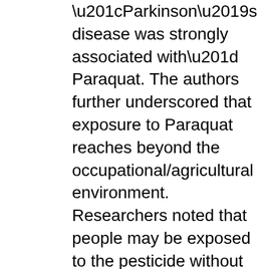“Parkinson’s disease was strongly associated with” Paraquat. The authors further underscored that exposure to Paraquat reaches beyond the occupational/agricultural environment. Researchers noted that people may be exposed to the pesticide without even being aware of its presence.

In 2014, the Annual Review of Pharmacology and Toxicology published findings related to Environmental Toxins